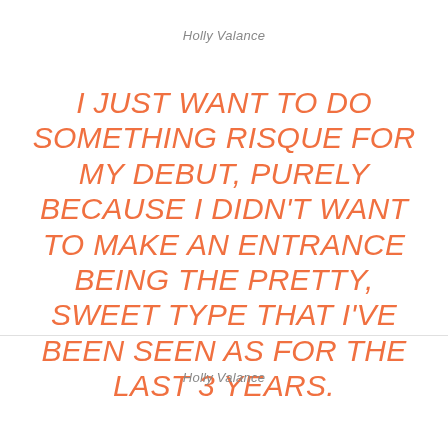Holly Valance
I JUST WANT TO DO SOMETHING RISQUE FOR MY DEBUT, PURELY BECAUSE I DIDN'T WANT TO MAKE AN ENTRANCE BEING THE PRETTY, SWEET TYPE THAT I'VE BEEN SEEN AS FOR THE LAST 3 YEARS.
Holly Valance